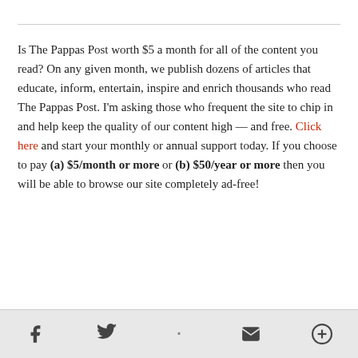Is The Pappas Post worth $5 a month for all of the content you read? On any given month, we publish dozens of articles that educate, inform, entertain, inspire and enrich thousands who read The Pappas Post. I'm asking those who frequent the site to chip in and help keep the quality of our content high — and free. Click here and start your monthly or annual support today. If you choose to pay (a) $5/month or more or (b) $50/year or more then you will be able to browse our site completely ad-free!
[social share icons: Facebook, Twitter, Email, More]